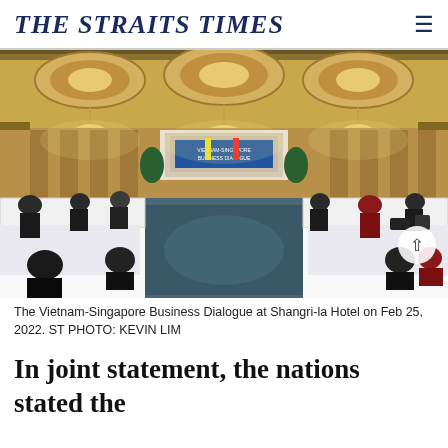THE STRAITS TIMES
[Figure (photo): Wide-angle view of the Vietnam-Singapore Business Dialogue inside a grand hotel ballroom with chandeliers, delegates seated at long white-draped tables on both sides facing a stage with a banner.]
The Vietnam-Singapore Business Dialogue at Shangri-la Hotel on Feb 25, 2022. ST PHOTO: KEVIN LIM
In joint statement, the nations stated the